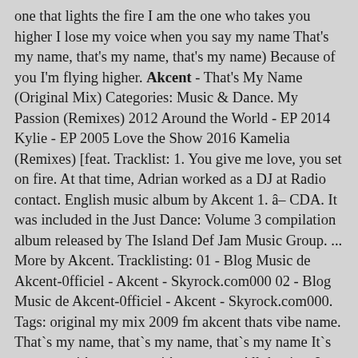one that lights the fire I am the one who takes you higher I lose my voice when you say my name That's my name, that's my name, that's my name) Because of you I'm flying higher. Akcent - That's My Name (Original Mix) Categories: Music & Dance. My Passion (Remixes) 2012 Around the World - EP 2014 Kylie - EP 2005 Love the Show 2016 Kamelia (Remixes) [feat. Tracklist: 1. You give me love, you set on fire. At that time, Adrian worked as a DJ at Radio contact. English music album by Akcent 1. â CDA. It was included in the Just Dance: Volume 3 compilation album released by The Island Def Jam Music Group. ... More by Akcent. Tracklisting: 01 - Blog Music de Akcent-0fficiel - Akcent - Skyrock.com000 02 - Blog Music de Akcent-0fficiel - Akcent - Skyrock.com000. Tags: original my mix 2009 fm akcent thats vibe name. That`s my name, that`s my name, that`s my name It`s my name, it`s my name, it`s my name All the time I thought about you I saw your eyes and they were so blue I could read there just one name My name, my name, my name Because of you I`m flying higher You give me love, you set a fire You keep me warm when you call my name And you are the one that lights the fire I am the one who takes you higher I lose my voice when you say my name That's my name, that's my name, that's my name. @kaiynat-khan my be. My Passion 4. 84 likes. Jamendo Album #081010. I could read there just one name. Delight